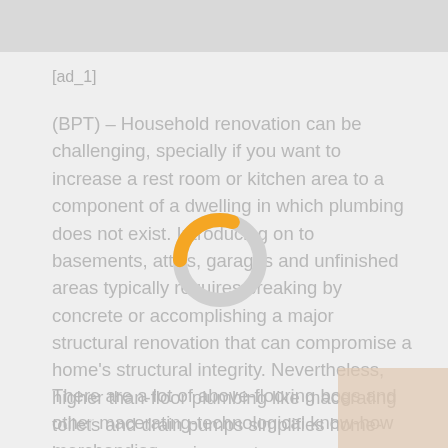[ad image banner at top]
[ad_1]
(BPT) – Household renovation can be challenging, specially if you want to increase a rest room or kitchen area to a component of a dwelling in which plumbing does not exist. Introducing on to basements, attics, garages and unfinished areas typically requires breaking by concrete or accomplishing a major structural renovation that can compromise a home's structural integrity. Nevertheless, higher than-floor plumbing like macerating toilets and drain pumps simplifies home-improvement assignments.
[Figure (other): Loading spinner / donut spinner animation with orange and light gray arc, centered on the page over the text]
There are a lot of above-flooring bogs and other macerating-technological know-how merchandise